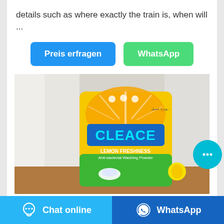details such as where exactly the train is, when will ...
Preis erfragen
WhatsApp
[Figure (photo): A yellow bag of CLEACE Lemon Freshness Anti-bacterial Washing Powder product, sitting on a wooden surface with a white curtain/door in the background.]
Surat witnessed world's
Chat online
WhatsApp